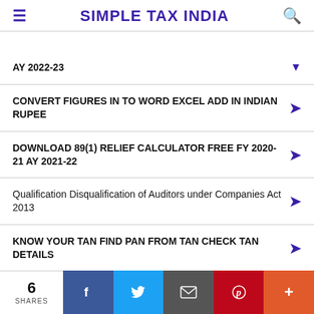SIMPLE TAX INDIA
AY 2022-23
CONVERT FIGURES IN TO WORD EXCEL ADD IN INDIAN RUPEE
DOWNLOAD 89(1) RELIEF CALCULATOR FREE FY 2020-21 AY 2021-22
Qualification Disqualification of Auditors under Companies Act 2013
KNOW YOUR TAN FIND PAN FROM TAN CHECK TAN DETAILS
6 SHARES | Facebook | Twitter | Email | Pinterest | More